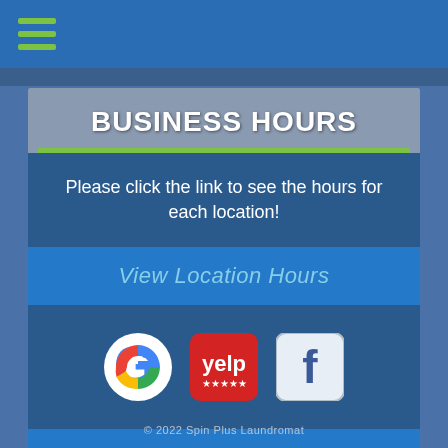Navigation menu (hamburger icon)
BUSINESS HOURS
Please click the link to see the hours for each location!
View Location Hours
[Figure (logo): Google, Yelp, and Facebook social media icons]
Read Our Reviews!
© 2022 Spin Plus Laundromat